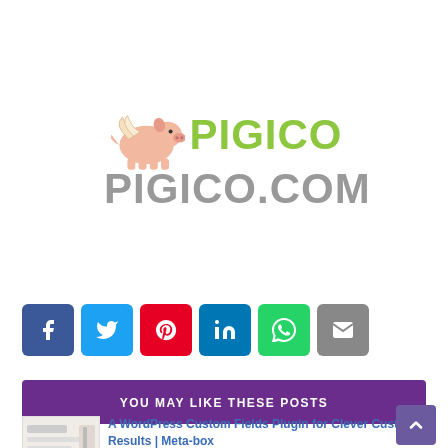[Figure (logo): PIGICO.COM logo with cartoon flying pig and green/grey text]
[Figure (infographic): Social share buttons: Facebook (blue), Twitter (light blue), Pinterest (red), LinkedIn (blue), WhatsApp (green), Email (grey)]
YOU MAY LIKE THESE POSTS
[Figure (screenshot): Thumbnail of Meta-box WordPress plugin article]
A WordPress Custom Fields Plugin for Clever Custom Results | Meta-box